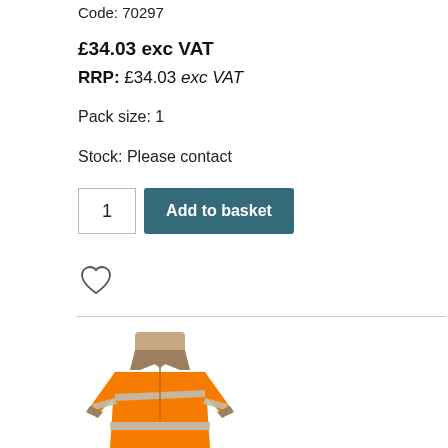Code: 70297
£34.03 exc VAT
RRP: £34.03 exc VAT
Pack size: 1
Stock: Please contact
[Figure (screenshot): Add to basket UI with quantity field showing '1' and a teal 'Add to basket' button]
[Figure (illustration): Heart/wishlist icon (outline heart shape)]
[Figure (photo): Man wearing an orange high-visibility polo shirt with reflective grey stripes across the chest and waist, short sleeves with grey trim]